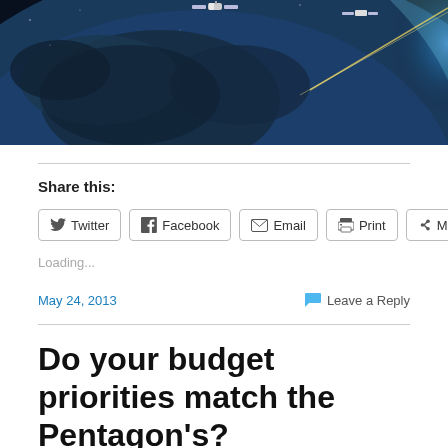[Figure (photo): Space/satellite imagery showing Earth from orbit with satellites and atmospheric glow, dark blue/purple tones]
Share this:
Twitter  Facebook  Email  Print  More
Loading...
May 24, 2013
Leave a Reply
Do your budget priorities match the Pentagon's?